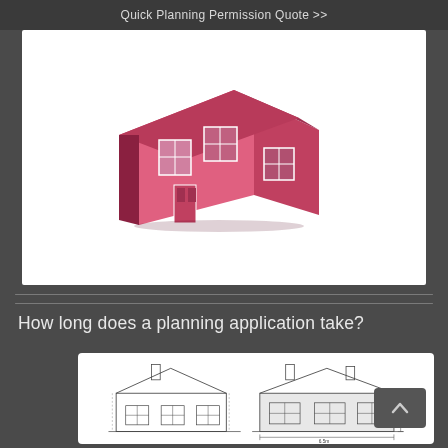Quick Planning Permission Quote >>
[Figure (illustration): 3D isometric illustration of a pink/magenta house with windows and doors on a white background card]
How long does a planning application take?
[Figure (engineering-diagram): Architectural elevation drawings showing front views of a bungalow/house with dimensions and annotations, in blueprint/line-drawing style]